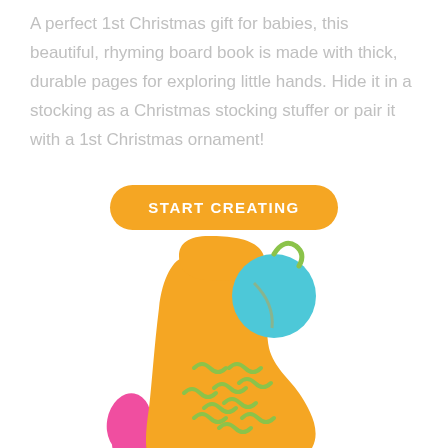A perfect 1st Christmas gift for babies, this beautiful, rhyming board book is made with thick, durable pages for exploring little hands. Hide it in a stocking as a Christmas stocking stuffer or pair it with a 1st Christmas ornament!
START CREATING
[Figure (illustration): Colorful illustration of a Christmas stocking — an orange stocking with green decorative stitching, a cyan/blue ball ornament at top right with a green loop, and a pink/magenta abstract shape on the lower left, partially cropped at the bottom of the page.]